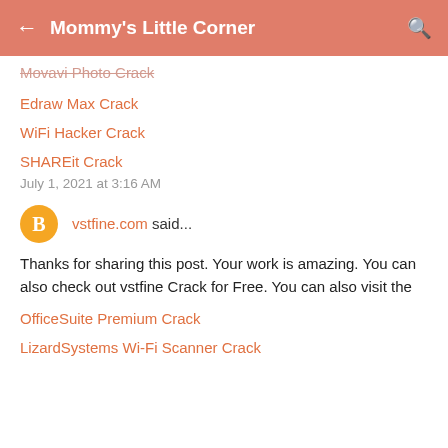← Mommy's Little Corner 🔍
Movavi Photo Crack
Edraw Max Crack
WiFi Hacker Crack
SHAREit Crack
July 1, 2021 at 3:16 AM
vstfine.com said...
Thanks for sharing this post. Your work is amazing. You can also check out vstfine Crack for Free. You can also visit the
OfficeSuite Premium Crack
LizardSystems Wi-Fi Scanner Crack